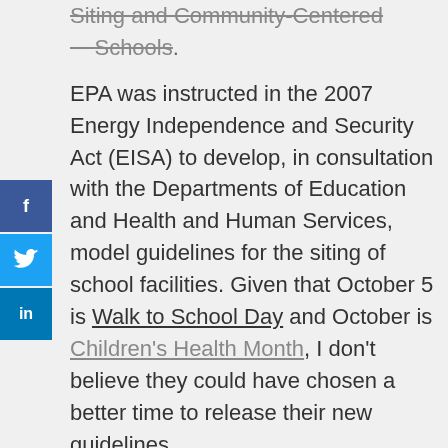Siting and Community-Centered Schools.
EPA was instructed in the 2007 Energy Independence and Security Act (EISA) to develop, in consultation with the Departments of Education and Health and Human Services, model guidelines for the siting of school facilities. Given that October 5 is Walk to School Day and October is Children's Health Month, I don't believe they could have chosen a better time to release their new guidelines.
I hope you take time to read the guidelines and then take even more time to help